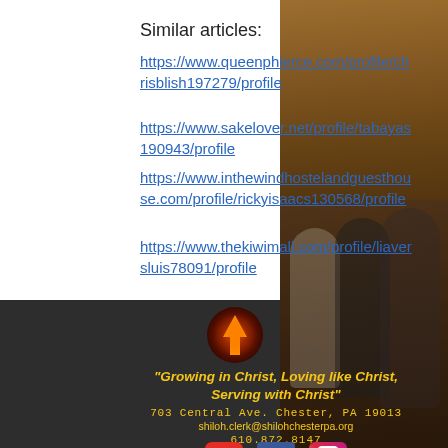Similar articles:
https://www.queenphierce.com/profile/chrisblish197279/profile
https://www.sakelover.net/profile/tabayas190943/profile
https://www.inthewindhostelandguesthouse.com/profile/rickyisaacs130568/profile
https://www.thekiwimall.com/profile/liaversluis78091/profile
[Figure (logo): Church logo - red/orange upward arrow on dark circular background]
"Growing in Christ, Loving like Christ, Serving with Christ"
703 Central Ave. Chester, PA 19013
shiloh.clerk@shilohchesterpa.org
610.872.8147
[Figure (logo): Social media icons: YouTube, Facebook, Instagram]